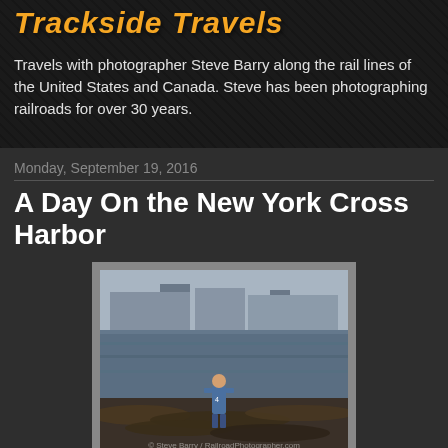Trackside Travels
Travels with photographer Steve Barry along the rail lines of the United States and Canada. Steve has been photographing railroads for over 30 years.
Monday, September 19, 2016
A Day On the New York Cross Harbor
[Figure (photo): A person in blue standing on logs/debris at waterfront with industrial buildings across the water. New York Cross Harbor; Greenville, N.J.; July 2000. Photo by Steve Barry / RailroadPhotographer.com]
New York Cross Harbor; Greenville, N.J.; July 2000
Note: We'll get back to the big Western Trip in the next post